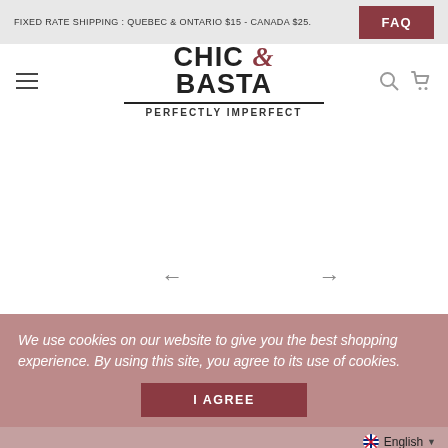FIXED RATE SHIPPING : QUEBEC & ONTARIO $15 - CANADA $25.  FAQ
[Figure (logo): Chic & Basta logo with ampersand in dark red, underline, and PERFECTLY IMPERFECT tagline]
[Figure (other): Slideshow area with left and right navigation arrows]
We use cookies on our website to give you the best shopping experience. By using this site, you agree to its use of cookies.
I AGREE
English